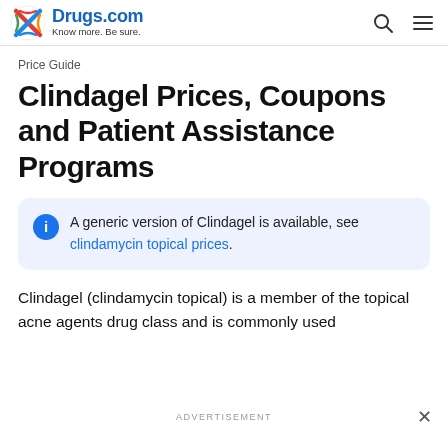Drugs.com — Know more. Be sure.
Price Guide
Clindagel Prices, Coupons and Patient Assistance Programs
A generic version of Clindagel is available, see clindamycin topical prices.
Clindagel (clindamycin topical) is a member of the topical acne agents drug class and is commonly used